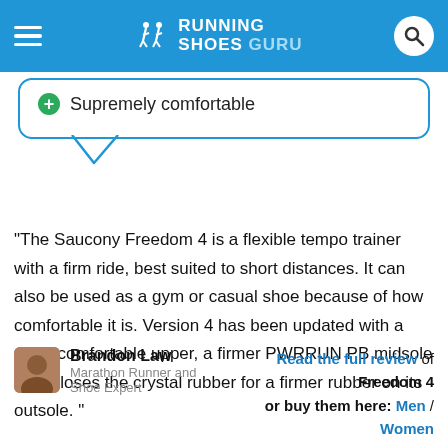Running Shoes Guru
Supremely comfortable
“The Saucony Freedom 4 is a flexible tempo trainer with a firm ride, best suited to short distances. It can also be used as a gym or casual shoe because of how comfortable it is. Version 4 has been updated with a more comfortable upper, a firmer PWRRUN PB midsole and it loses the crystal rubber for a firmer rubber on its outsole. ”
Brandon Law
Marathon Runner and Shoe Expert
Read the full review of Freedom 4 or buy them here: Men / Women